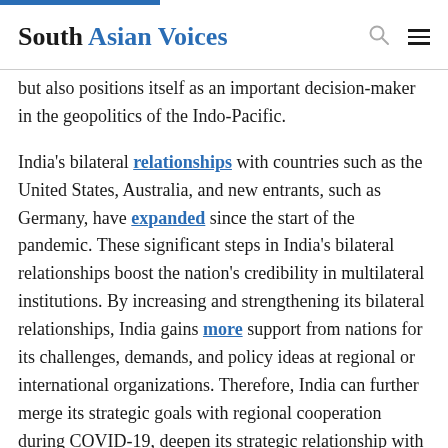South Asian Voices
but also positions itself as an important decision-maker in the geopolitics of the Indo-Pacific.
India's bilateral relationships with countries such as the United States, Australia, and new entrants, such as Germany, have expanded since the start of the pandemic. These significant steps in India's bilateral relationships boost the nation's credibility in multilateral institutions. By increasing and strengthening its bilateral relationships, India gains more support from nations for its challenges, demands, and policy ideas at regional or international organizations. Therefore, India can further merge its strategic goals with regional cooperation during COVID-19, deepen its strategic relationship with major powers, and engage through multilateral institutions like the Quad and ASEAN.